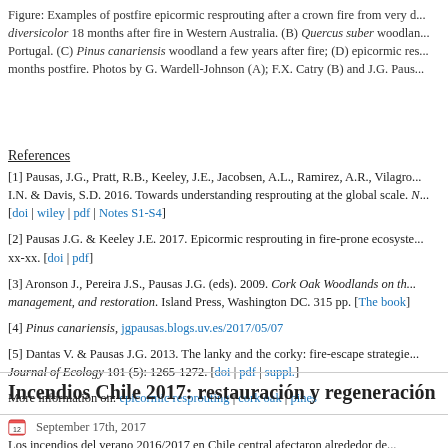Figure: Examples of postfire epicormic resprouting after a crown fire from very d... diversicolor 18 months after fire in Western Australia. (B) Quercus suber woodlan... Portugal. (C) Pinus canariensis woodland a few years after fire; (D) epicormic res... months postfire. Photos by G. Wardell-Johnson (A); F.X. Catry (B) and J.G. Paus...
References
[1] Pausas, J.G., Pratt, R.B., Keeley, J.E., Jacobsen, A.L., Ramirez, A.R., Vilagro... I.N. & Davis, S.D. 2016. Towards understanding resprouting at the global scale. N... [doi | wiley | pdf | Notes S1-S4]
[2] Pausas J.G. & Keeley J.E. 2017. Epicormic resprouting in fire-prone ecosyste... xx-xx. [doi | pdf]
[3] Aronson J., Pereira J.S., Pausas J.G. (eds). 2009. Cork Oak Woodlands on th... management, and restoration. Island Press, Washington DC. 315 pp. [The book]
[4] Pinus canariensis, jgpausas.blogs.uv.es/2017/05/07
[5] Dantas V. & Pausas J.G. 2013. The lanky and the corky: fire-escape strategie... Journal of Ecology 101 (5): 1265-1272. [doi | pdf | suppl.]
More information on: epicormic resprouting | cork oak | pines
Incendios Chile 2017: restauración y regeneración
September 17th, 2017
Los incendios del verano 2016/2017 en Chile central afectaron alrededor de...